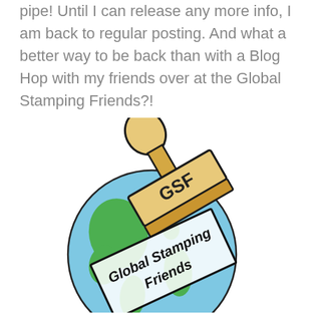pipe! Until I can release any more info, I am back to regular posting. And what a better way to be back than with a Blog Hop with my friends over at the Global Stamping Friends?!
[Figure (logo): Global Stamping Friends logo: a rubber stamp with handle pressed onto a globe (light blue with green continents). The stamp body is tan/beige with 'GSF' text. A rectangular stamp impression below reads 'Global Stamping Friends' in bold italic text.]